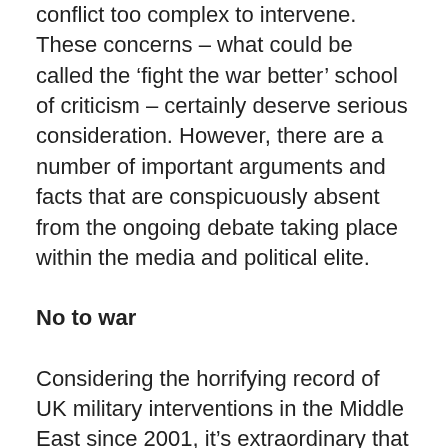conflict too complex to intervene. These concerns – what could be called the 'fight the war better' school of criticism – certainly deserve serious consideration. However, there are a number of important arguments and facts that are conspicuously absent from the ongoing debate taking place within the media and political elite.
No to war
Considering the horrifying record of UK military interventions in the Middle East since 2001, it's extraordinary that further military action is now being seriously considered in Syria. The UK – fighting alongside the US and other allies – has decimated Afghanistan, Iraq and Libya, killing and